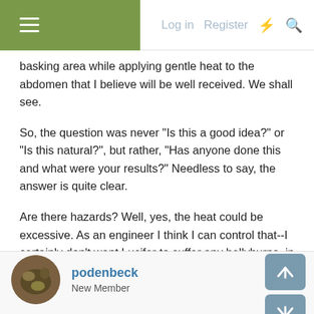Log in  Register
basking area while applying gentle heat to the abdomen that I believe will be well received. We shall see.
So, the question was never "Is this a good idea?" or "Is this natural?", but rather, "Has anyone done this and what were your results?" Needless to say, the answer is quite clear.
Are there hazards? Well, yes, the heat could be excessive. As an engineer I think I can control that--I certainly don't want Lucifer to suffer any bellyburns, in spite of his name!
podenbeck
New Member